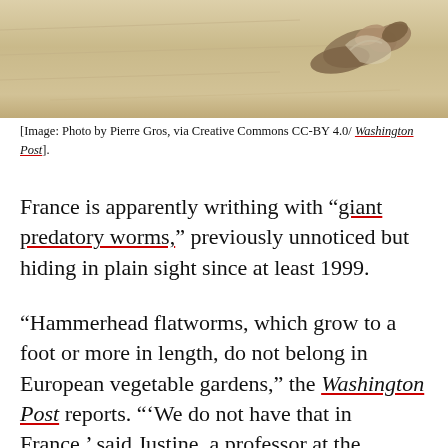[Figure (photo): A hammerhead flatworm or similar creature photographed against a sandy/beige textured background, positioned toward the right side of the image.]
[Image: Photo by Pierre Gros, via Creative Commons CC-BY 4.0/ Washington Post].
France is apparently writhing with “giant predatory worms,” previously unnoticed but hiding in plain sight since at least 1999.
“Hammerhead flatworms, which grow to a foot or more in length, do not belong in European vegetable gardens,” the Washington Post reports. “‘We do not have that in France,’ said Justine, a professor at the National Museum of Natural History in Paris. The predatory worms are